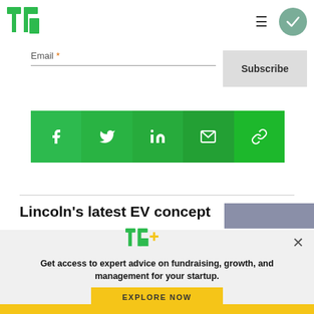TechCrunch logo, navigation menu, and subscribe circle
Email *
Subscribe
[Figure (infographic): Green social sharing bar with icons: Facebook, Twitter, LinkedIn, Email, Link]
Lincoln's latest EV concept
[Figure (infographic): TC+ promotional modal overlay with logo, text, and Explore Now button]
Get access to expert advice on fundraising, growth, and management for your startup.
EXPLORE NOW